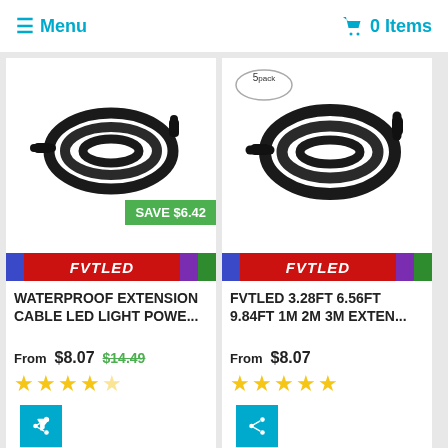☰ Menu   🛒 0 Items
[Figure (photo): Coiled black waterproof extension cable for LED lights with a green SAVE $6.42 badge and FVTLED brand bar]
WATERPROOF EXTENSION CABLE LED LIGHT POWE...
From $8.07  $14.49
[Figure (other): 4.5 star rating shown as yellow stars]
[Figure (photo): Coiled black 5-pack LED extension cable with FVTLED brand bar and 5 pack badge]
FVTLED 3.28FT 6.56FT 9.84FT 1M 2M 3M EXTEN...
From $8.07
[Figure (other): 5 star rating shown as yellow stars]